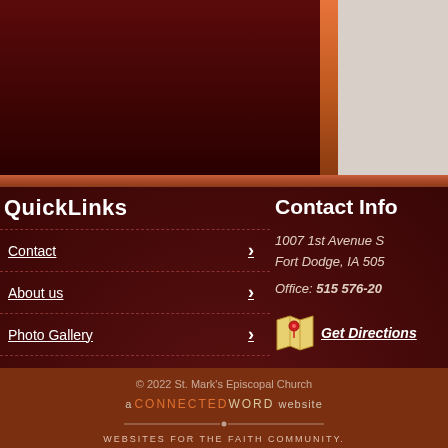QuickLinks
Contact
About us
Photo Gallery
Want to join us?
Contact Info
1007 1st Avenue S
Fort Dodge, IA 505
Office: 515 576-20
Get Directions
© 2022 St. Mark's Episcopal Church
a CONNECTEDWORD website
WEBSITES FOR THE FAITH COMMUNITY.